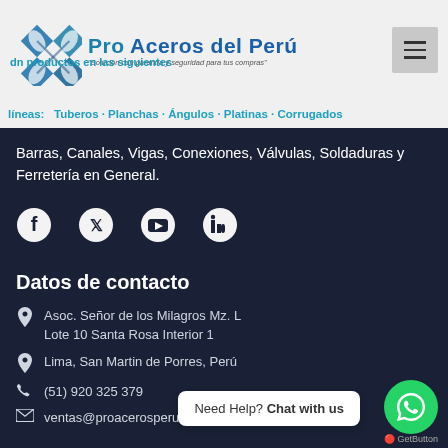[Figure (logo): Pro Aceros del Perú logo with diamond/rhombus shapes and tagline 'Solución con garantía y seguridad para tus compras']
Pro Aceros del Perú – Solución con garantía y seguridad para tus compras
dn productos en las siguientes líneas: Tuberos, Planchas, Ángulos, Platinas, Corrugados, Barras, Canales, Vigas, Conexiones, Válvulas, Soldaduras y Ferretería en General.
[Figure (infographic): Social media icons: Facebook, Twitter, YouTube, LinkedIn]
Datos de contacto
Asoc. Señor de los Milagros Mz. L
Lote 10 Santa Rosa Interior 1
Lima, San Martin de Porres, Perú
(51) 920 325 379
ventas@proacerosperu.c…
Lun - Vie: 08:00 – 19:00
Need Help? Chat with us